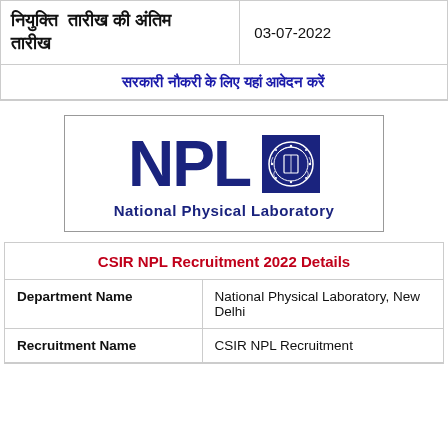| [Hindi text - date header left] | 03-07-2022 |
| [Hindi text - centered link row] |  |
[Figure (logo): NPL National Physical Laboratory logo with bold dark blue NPL letters and circular emblem on dark blue square background]
| CSIR NPL Recruitment 2022 Details |
| --- |
| Department Name | National Physical Laboratory, New Delhi |
| Recruitment Name | CSIR NPL Recruitment |